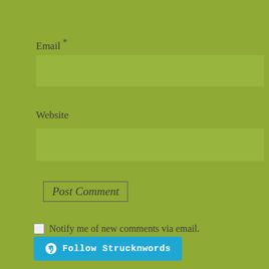Email *
[Figure (other): Email input text field (empty)]
Website
[Figure (other): Website input text field (empty)]
Post Comment
Notify me of new comments via email.
Notify me of new posts via email.
[Figure (other): Follow Strucknwords button with WordPress logo]